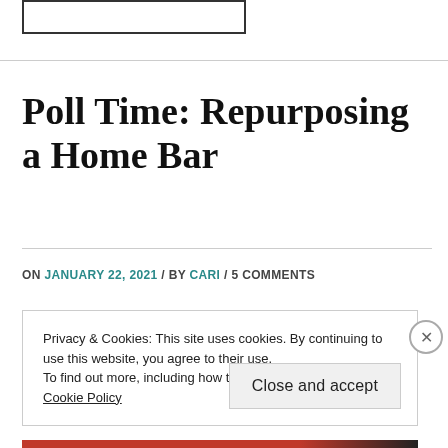[Figure (other): Logo placeholder box (empty rectangle)]
Poll Time: Repurposing a Home Bar
ON JANUARY 22, 2021 / BY CARI / 5 COMMENTS
Privacy & Cookies: This site uses cookies. By continuing to use this website, you agree to their use.
To find out more, including how to control cookies, see here: Cookie Policy
Close and accept